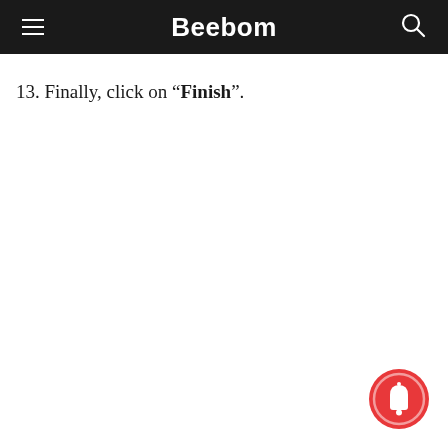Beebom
13. Finally, click on “Finish”.